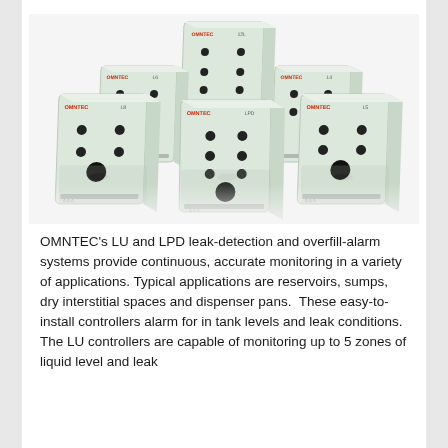[Figure (photo): Group of OMNTEC LU and LPD leak-detection and overfill-alarm controller units arranged in a pyramid/fan formation on a white background with reflections visible below each unit. Units are light grey/white rectangular boxes with black circular connectors/sensors on their faces and red OMNTEC logos.]
OMNTEC's LU and LPD leak-detection and overfill-alarm systems provide continuous, accurate monitoring in a variety of applications. Typical applications are reservoirs, sumps, dry interstitial spaces and dispenser pans.  These easy-to-install controllers alarm for in tank levels and leak conditions. The LU controllers are capable of monitoring up to 5 zones of liquid level and leak